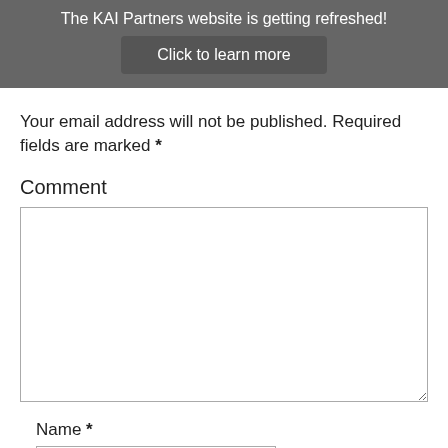The KAI Partners website is getting refreshed! Click to learn more
Your email address will not be published. Required fields are marked *
Comment
Name *
Email *